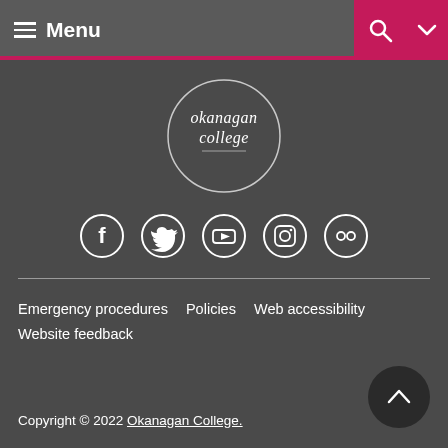Menu
[Figure (logo): Okanagan College circular logo with text 'okanagan college' inside a circle]
[Figure (infographic): Social media icons: Facebook, Twitter, YouTube, Instagram, Flickr — white circle outlines on dark background]
Emergency procedures  Policies  Web accessibility  Website feedback
Copyright © 2022 Okanagan College.